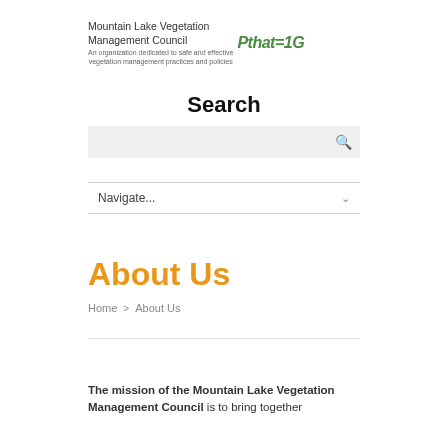[Figure (logo): Mountain Lake Vegetation Management Council logo with green stylized text and tagline: An organization dedicated to safe and effective vegetation management practices and policies]
Search
[Figure (screenshot): Search input box with magnifying glass icon on grey background]
[Figure (screenshot): Navigation dropdown selector showing 'Navigate...' with chevron arrow]
About Us
Home > About Us
The mission of the Mountain Lake Vegetation Management Council is to bring together